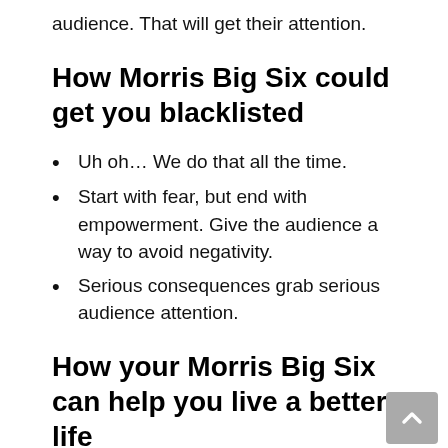audience. That will get their attention.
How Morris Big Six could get you blacklisted
Uh oh… We do that all the time.
Start with fear, but end with empowerment. Give the audience a way to avoid negativity.
Serious consequences grab serious audience attention.
How your Morris Big Six can help you live a better life